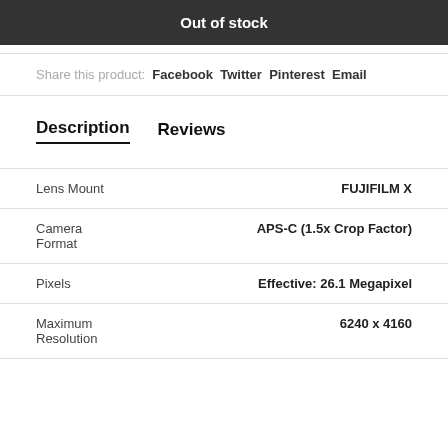Out of stock
Share this product: Facebook Twitter Pinterest Email
Description   Reviews
| Specification | Value |
| --- | --- |
| Lens Mount | FUJIFILM X |
| Camera Format | APS-C (1.5x Crop Factor) |
| Pixels | Effective: 26.1 Megapixel |
| Maximum Resolution | 6240 x 4160 |